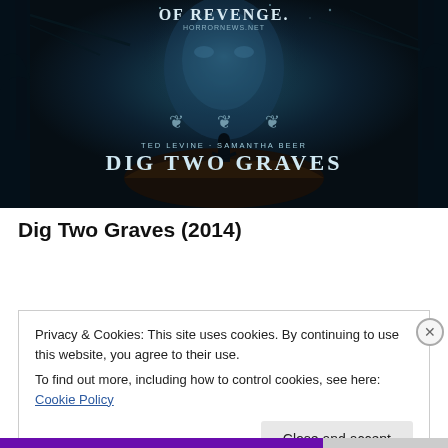[Figure (photo): Movie poster for 'Dig Two Graves' (2014) — dark teal-toned horror poster featuring a large ghostly child's face overlaid on a dark forest scene. A lone silhouetted figure stands on a rock. Text reads 'OF REVENGE.' at top, three festival laurel badges in the middle, 'TED LEVINE · SAMANTHA BEER' and 'DIG TWO GRAVES' at the bottom.]
Dig Two Graves (2014)
Privacy & Cookies: This site uses cookies. By continuing to use this website, you agree to their use.
To find out more, including how to control cookies, see here: Cookie Policy